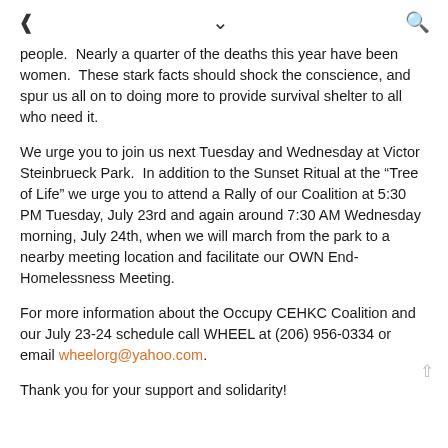< v Q
people.  Nearly a quarter of the deaths this year have been women.  These stark facts should shock the conscience, and spur us all on to doing more to provide survival shelter to all who need it.
We urge you to join us next Tuesday and Wednesday at Victor Steinbrueck Park.  In addition to the Sunset Ritual at the “Tree of Life” we urge you to attend a Rally of our Coalition at 5:30 PM Tuesday, July 23rd and again around 7:30 AM Wednesday morning, July 24th, when we will march from the park to a nearby meeting location and facilitate our OWN End-Homelessness Meeting.
For more information about the Occupy CEHKC Coalition and our July 23-24 schedule call WHEEL at (206) 956-0334 or email wheelorg@yahoo.com.
Thank you for your support and solidarity!